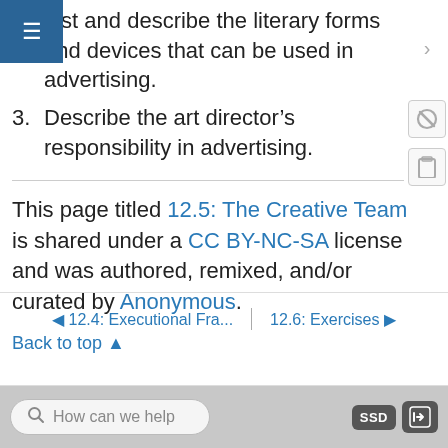2. List and describe the literary forms and devices that can be used in advertising.
3. Describe the art director's responsibility in advertising.
This page titled 12.5: The Creative Team is shared under a CC BY-NC-SA license and was authored, remixed, and/or curated by Anonymous.
Back to top ▲
◄ 12.4: Executional Fra... | 12.6: Exercises ►
How can we help